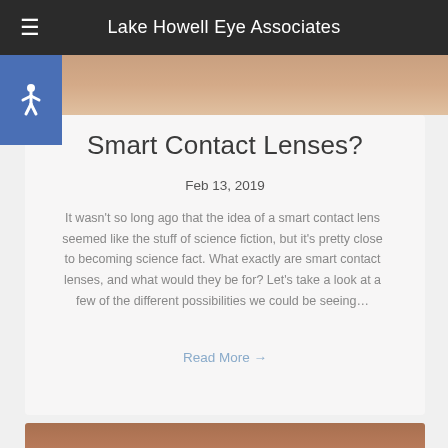Lake Howell Eye Associates
Smart Contact Lenses?
Feb 13, 2019
It wasn't so long ago that the idea of a smart contact lens seemed like the stuff of science fiction, but it's pretty close to becoming science fact. What exactly are smart contact lenses, and what would they be for? Let's take a look at a few of the different possibilities we could be seeing…
Read More →
[Figure (photo): Close-up photo of a human eye or face, partially visible at the top of the card area]
[Figure (photo): Partial photo visible at the bottom of the page, showing a person's face]